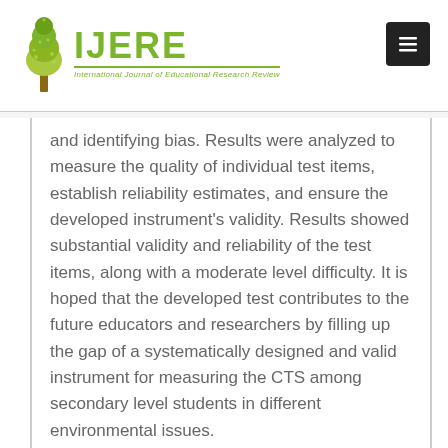IJERE International Journal of Educational Research Review
and identifying bias. Results were analyzed to measure the quality of individual test items, establish reliability estimates, and ensure the developed instrument's validity. Results showed substantial validity and reliability of the test items, along with a moderate level difficulty. It is hoped that the developed test contributes to the future educators and researchers by filling up the gap of a systematically designed and valid instrument for measuring the CTS among secondary level students in different environmental issues.